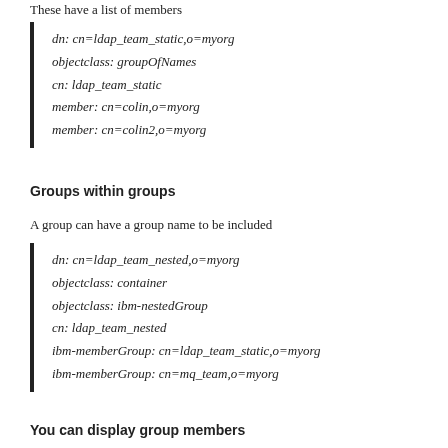These have a list of members
dn: cn=ldap_team_static,o=myorg
objectclass: groupOfNames
cn: ldap_team_static
member: cn=colin,o=myorg
member: cn=colin2,o=myorg
Groups within groups
A group can have a group name to be included
dn: cn=ldap_team_nested,o=myorg
objectclass: container
objectclass: ibm-nestedGroup
cn: ldap_team_nested
ibm-memberGroup: cn=ldap_team_static,o=myorg
ibm-memberGroup: cn=mq_team,o=myorg
You can display group members